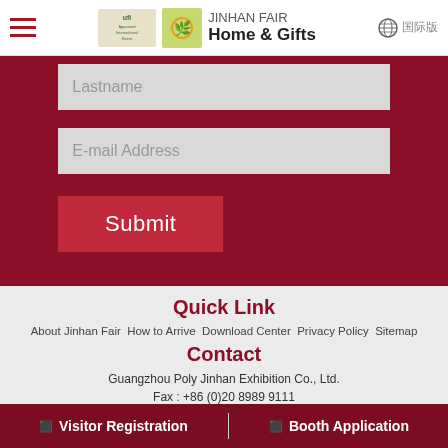JINHAN FAIR Home & Gifts — Navigation header with UFI approved badge, logo, and language selector
Lastname
E-mail Address
Submit
Quick Link
About Jinhan Fair  How to Arrive  Download Center  Privacy Policy  Sitemap
Contact
Guangzhou Poly Jinhan Exhibition Co., Ltd.
Fax : +86 (0)20 8989 9111
🔲 Visitor Registration | 🔲 Booth Application